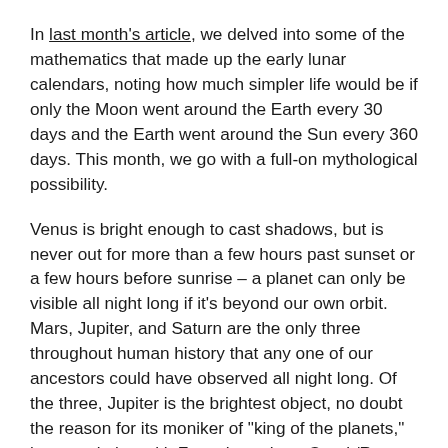In last month's article, we delved into some of the mathematics that made up the early lunar calendars, noting how much simpler life would be if only the Moon went around the Earth every 30 days and the Earth went around the Sun every 360 days. This month, we go with a full-on mythological possibility.
Venus is bright enough to cast shadows, but is never out for more than a few hours past sunset or a few hours before sunrise – a planet can only be visible all night long if it's beyond our own orbit. Mars, Jupiter, and Saturn are the only three throughout human history that any one of our ancestors could have observed all night long. Of the three, Jupiter is the brightest object, no doubt the reason for its moniker of "king of the planets," its association with Zeus throughout Greek/Roman antiquity, and its attribution to the Babylonian god Marduk long before the Greeks.